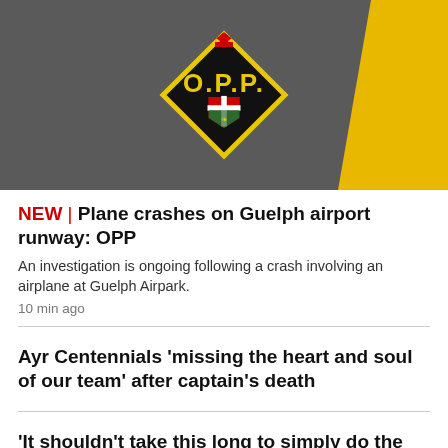[Figure (photo): OPP (Ontario Provincial Police) diamond-shaped logo sign on asphalt road with yellow painted stripe. The black diamond sign has yellow text 'O.P.P.' and the Ontario shield crest below it.]
NEW | Plane crashes on Guelph airport runway: OPP
An investigation is ongoing following a crash involving an airplane at Guelph Airpark.
10 min ago
Ayr Centennials 'missing the heart and soul of our team' after captain's death
'It shouldn't take this long to simply do the right